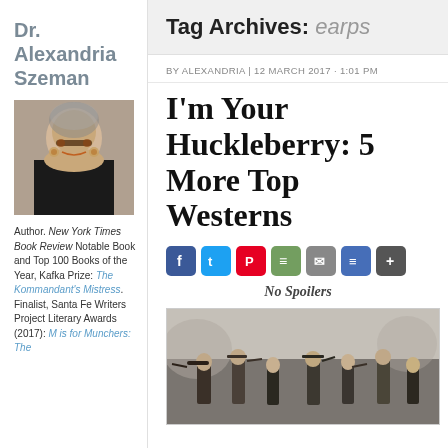Dr. Alexandria Szeman
[Figure (photo): Portrait photo of Dr. Alexandria Szeman, a woman with short gray hair and glasses, smiling, wearing dark clothing]
Author. New York Times Book Review Notable Book and Top 100 Books of the Year, Kafka Prize: The Kommandant's Mistress. Finalist, Santa Fe Writers Project Literary Awards (2017): M is for Munchers: The
Tag Archives: earps
BY ALEXANDRIA | 12 MARCH 2017 · 1:01 PM
I'm Your Huckleberry: 5 More Top Westerns
No Spoilers
[Figure (photo): Black and white photo of a Western scene with multiple cowboys, some appearing to be in a standoff or confrontation outdoors]